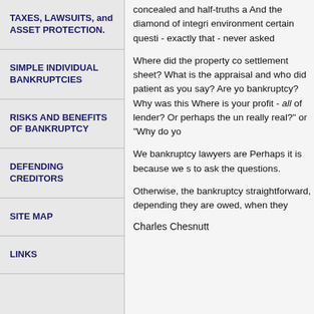TAXES, LAWSUITS, and ASSET PROTECTION.
SIMPLE INDIVIDUAL BANKRUPTCIES
RISKS AND BENEFITS OF BANKRUPTCY
DEFENDING CREDITORS
SITE MAP
LINKS
concealed and half-truths a And the diamond of integri environment certain questi - exactly that - never asked
Where did the property co settlement sheet? What is the appraisal and who did patient as you say? Are yo bankruptcy? Why was this Where is your profit - all of lender? Or perhaps the un really real?" or "Why do yo
We bankruptcy lawyers are Perhaps it is because we s to ask the questions.
Otherwise, the bankruptcy straightforward, depending they are owed, when they
Charles Chesnutt